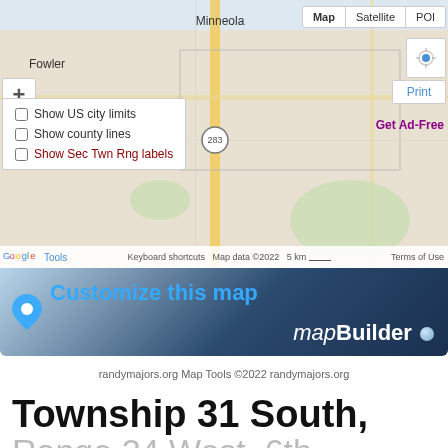[Figure (map): Google Maps view showing Minneola and Fowler area in Kansas, with map/satellite/POI tabs, zoom controls, overlay options (Show US city limits, Show county lines, Show Sec Twn Rng labels), print button, location button, Get Ad-Free link, and map attribution bar at bottom.]
[Figure (infographic): mapBuilder banner showing a blue location pin icon, 'Customize this map' text in blue, and 'mapBuilder' text in white italic with a blue dot on a dark navy gradient background.]
randymajors.org Map Tools ©2022 randymajors.org
Township 31 South,
Range 24 West, 6th Principal Meridian